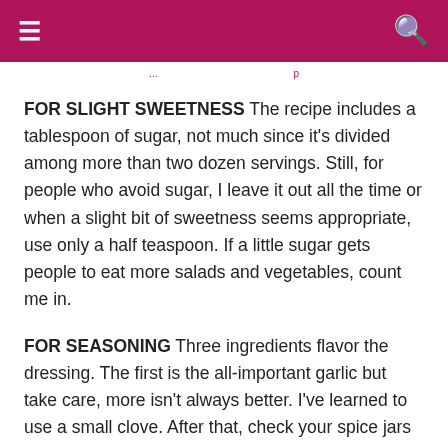≡  🔍
FOR SLIGHT SWEETNESS The recipe includes a tablespoon of sugar, not much since it's divided among more than two dozen servings. Still, for people who avoid sugar, I leave it out all the time or when a slight bit of sweetness seems appropriate, use only a half teaspoon. If a little sugar gets people to eat more salads and vegetables, count me in.
FOR SEASONING Three ingredients flavor the dressing. The first is the all-important garlic but take care, more isn't always better. I've learned to use a small clove. After that, check your spice jars for dry mustard powder, it adds that small bite of mustard without adding moisture. Since the amount is so